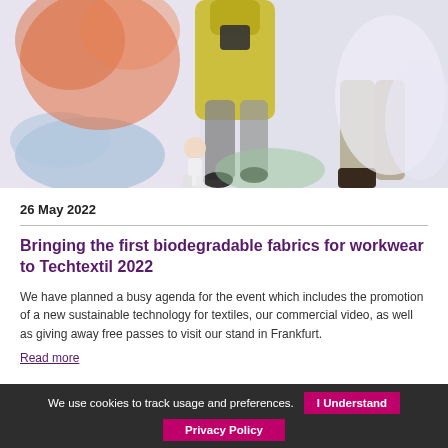[Figure (photo): Fashion/workwear photo collage with colorful smoke effects and models wearing workwear against a white fabric background]
26 May 2022
Bringing the first biodegradable fabrics for workwear to Techtextil 2022
We have planned a busy agenda for the event which includes the promotion of a new sustainable technology for textiles, our commercial video, as well as giving away free passes to visit our stand in Frankfurt.
Read more
We use cookies to track usage and preferences. | I Understand | Privacy Policy